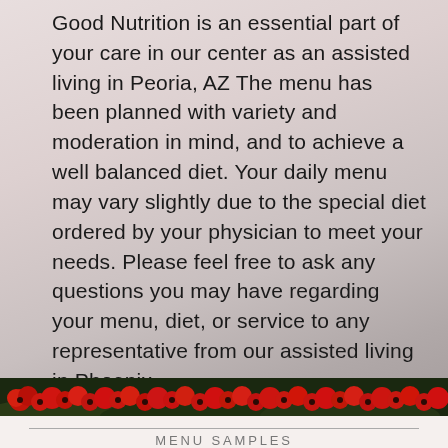Good Nutrition is an essential part of your care in our center as an assisted living in Peoria, AZ The menu has been planned with variety and moderation in mind, and to achieve a well balanced diet. Your daily menu may vary slightly due to the special diet ordered by your physician to meet your needs. Please feel free to ask any questions you may have regarding your menu, diet, or service to any representative from our assisted living in Phoenix.
[Figure (photo): A horizontal band of red poppy flowers with green foliage in dark background, serving as a decorative divider.]
MENU SAMPLES